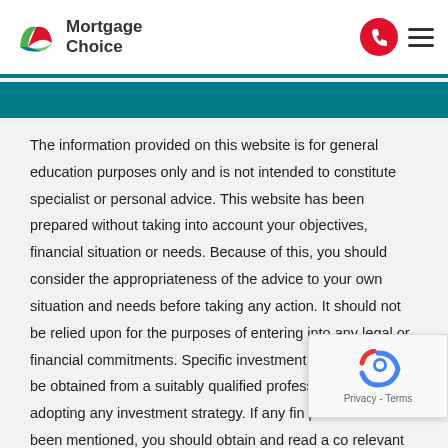Mortgage Choice
The information provided on this website is for general education purposes only and is not intended to constitute specialist or personal advice. This website has been prepared without taking into account your objectives, financial situation or needs. Because of this, you should consider the appropriateness of the advice to your own situation and needs before taking any action. It should not be relied upon for the purposes of entering into any legal or financial commitments. Specific investment advice should be obtained from a suitably qualified professional before adopting any investment strategy. If any financial product has been mentioned, you should obtain and read a copy of the relevant Product Disclosure Statement and consider the information contained within that Statement with regard to your personal circumstances, before making any decision about whether to acquire the product. You can obtain a copy of the PDS by emailing